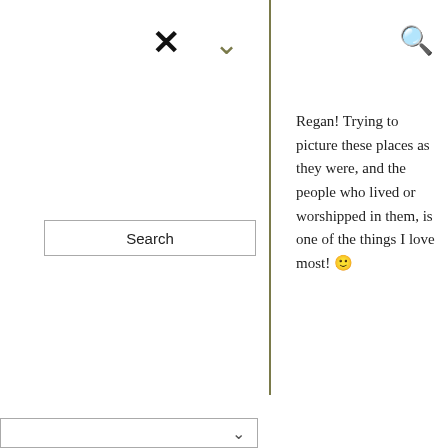[Figure (screenshot): Website UI with close (X) icon top left, chevron down icon top center, search icon top right, vertical olive-green divider line]
[Figure (screenshot): Search input box with 'Search' button on left panel]
Regan! Trying to picture these places as they were, and the people who lived or worshipped in them, is one of the things I love most! 🙂
[Figure (screenshot): Dropdown box with chevron arrow on left panel]
The Hazel
FE PHOTOS AND ART
NOVEMBER 18, 2015 AT 11:56 PM
REPLY
Disneach
ne black dog
xcellent photos Jo, and a thoroughly